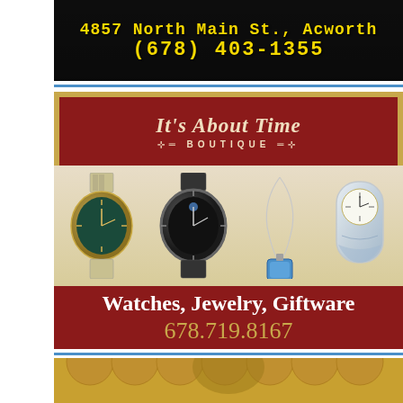[Figure (photo): Store front advertisement with yellow text on dark background showing address 4857 North Main St., Acworth and phone number (678) 403-1355]
[Figure (advertisement): It's About Time Boutique advertisement featuring watches, jewelry, and giftware with phone number 678.719.8167]
[Figure (photo): Bottom advertisement partially visible with gold/tan background showing what appears to be cookies or baked goods]